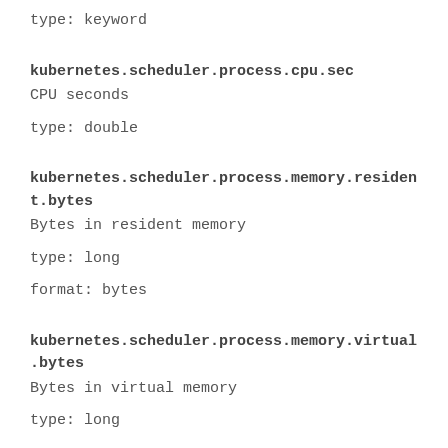type: keyword
kubernetes.scheduler.process.cpu.sec
CPU seconds
type: double
kubernetes.scheduler.process.memory.resident.bytes
Bytes in resident memory
type: long
format: bytes
kubernetes.scheduler.process.memory.virtual.bytes
Bytes in virtual memory
type: long